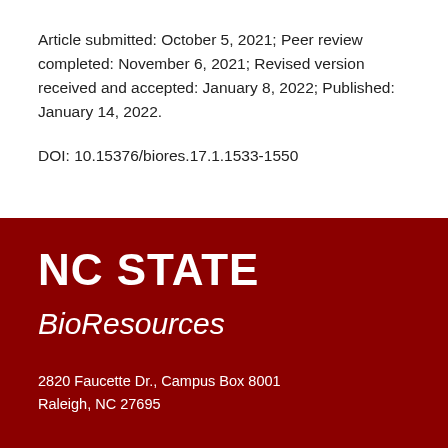Article submitted: October 5, 2021; Peer review completed: November 6, 2021; Revised version received and accepted: January 8, 2022; Published: January 14, 2022.
DOI: 10.15376/biores.17.1.1533-1550
NC STATE
BioResources
2820 Faucette Dr., Campus Box 8001
Raleigh, NC 27695